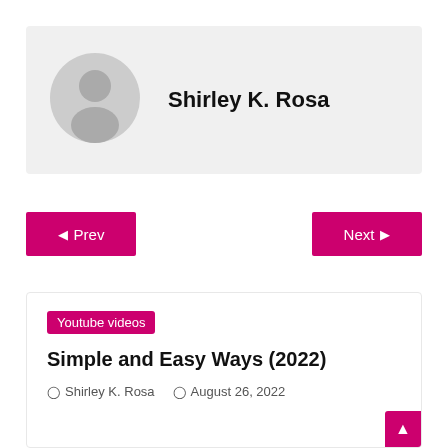[Figure (illustration): Generic user avatar circle with person silhouette in gray]
Shirley K. Rosa
◁  Prev
Next  ▷
Youtube videos
Simple and Easy Ways (2022)
◁ Shirley K. Rosa   ◁ August 26, 2022